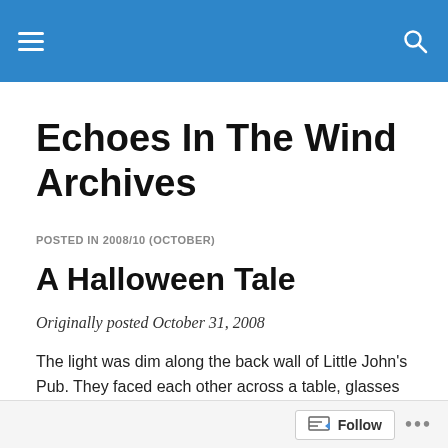Echoes In The Wind Archives — navigation header with hamburger menu and search icon
Echoes In The Wind Archives
POSTED IN 2008/10 (OCTOBER)
A Halloween Tale
Originally posted October 31, 2008
The light was dim along the back wall of Little John's Pub. They faced each other across a table, glasses of dark beer and a pack of cigarettes between them. She drank…
Follow …